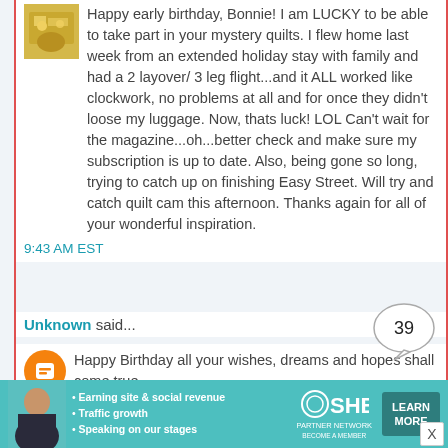Happy early birthday, Bonnie! I am LUCKY to be able to take part in your mystery quilts. I flew home last week from an extended holiday stay with family and had a 2 layover/ 3 leg flight...and it ALL worked like clockwork, no problems at all and for once they didn't loose my luggage. Now, thats luck! LOL Can't wait for the magazine...oh...better check and make sure my subscription is up to date. Also, being gone so long, trying to catch up on finishing Easy Street. Will try and catch quilt cam this afternoon. Thanks again for all of your wonderful inspiration.
9:43 AM EST
Unknown said...
Happy Birthday all your wishes, dreams and hopes shall come true.
I'm lucky to be a part of your Giveaway. Thank you so much for doing it
Gunda
[Figure (infographic): SHE Partner Network advertisement banner with woman photo, bullet points about earning site & social revenue, traffic growth, speaking on stages, SHE logo, and Learn More button]